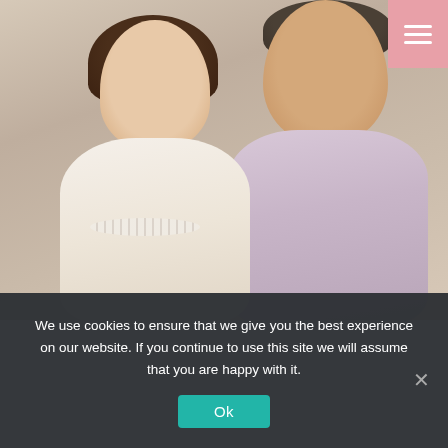[Figure (photo): Portrait photograph of an older couple. A woman with short dark hair and glasses wearing a white lace top and pearl necklace leans into a man with grey hair, glasses, and a grey mustache wearing a lavender/light purple button-up shirt. Both are looking at the camera and smiling. The background is a warm neutral beige/grey.]
We use cookies to ensure that we give you the best experience on our website. If you continue to use this site we will assume that you are happy with it.
Ok